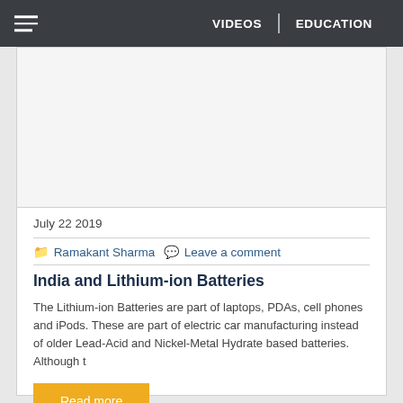VIDEOS | EDUCATION
[Figure (other): Advertisement or image placeholder area, white/light grey background]
July 22 2019
Ramakant Sharma   Leave a comment
India and Lithium-ion Batteries
The Lithium-ion Batteries are part of laptops, PDAs, cell phones and iPods. These are part of electric car manufacturing instead of older Lead-Acid and Nickel-Metal Hydrate based batteries. Although t
Read more